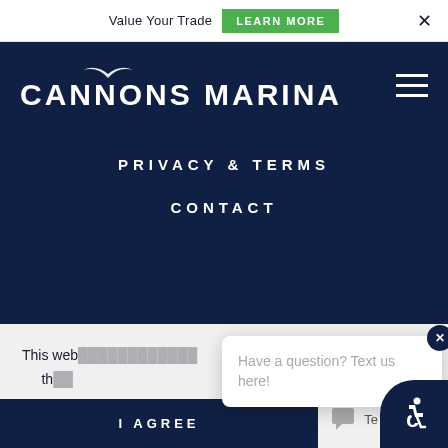Value Your Trade  LEARN MORE  ×
[Figure (logo): Cannons Marina logo with seagull above the O in CANNONS, white text on dark navy background]
[Figure (other): Hamburger menu icon (three horizontal white lines) on navy background]
PRIVACY & TERMS
CONTACT
This web[site uses cookies]... th[e best experience]
[Figure (screenshot): Chat popup overlay: 'Have a question? Text us here!' with X close button in navy circle]
I AGREE
Te[xt]
[Figure (other): Accessibility icon in navy circle, bottom right corner]